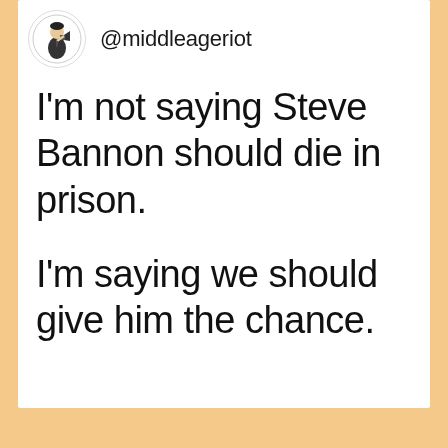[Figure (illustration): Retro clip-art illustration of a man with a megaphone, used as avatar for @middleageriot Twitter account]
@middleageriot
I'm not saying Steve Bannon should die in prison.

I'm saying we should give him the chance.